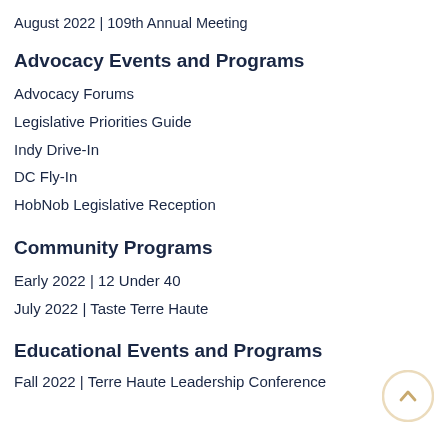August 2022 | 109th Annual Meeting
Advocacy Events and Programs
Advocacy Forums
Legislative Priorities Guide
Indy Drive-In
DC Fly-In
HobNob Legislative Reception
Community Programs
Early 2022 | 12 Under 40
July 2022 | Taste Terre Haute
Educational Events and Programs
Fall 2022 | Terre Haute Leadership Conference